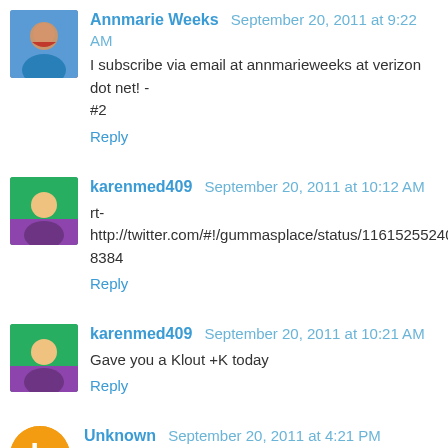Annmarie Weeks  September 20, 2011 at 9:22 AM
I subscribe via email at annmarieweeks at verizon dot net! - #2
Reply
karenmed409  September 20, 2011 at 10:12 AM
rt- http://twitter.com/#!/gummasplace/status/116152552407568384
Reply
karenmed409  September 20, 2011 at 10:21 AM
Gave you a Klout +K today
Reply
Unknown  September 20, 2011 at 4:21 PM
http://twitter.com/avonproducts4me/status/11624561161107